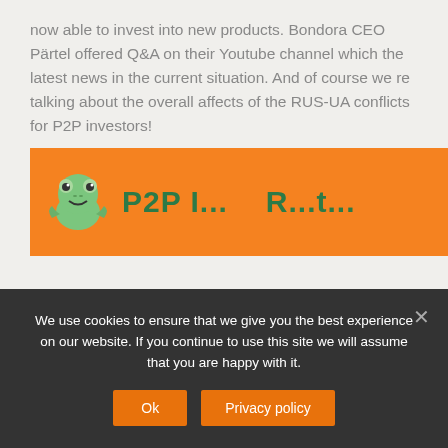now able to invest into new products. Bondora CEO Pärtel offered Q&A on their Youtube channel which the latest news in the current situation. And of course we re talking about the overall affects of the RUS-UA conflicts for P2P investors!
Welcome to my latest P2P News.
Read more ›
[Figure (illustration): Orange banner with a green cartoon frog character and partially visible bold green text]
We use cookies to ensure that we give you the best experience on our website. If you continue to use this site we will assume that you are happy with it.
Ok   Privacy policy